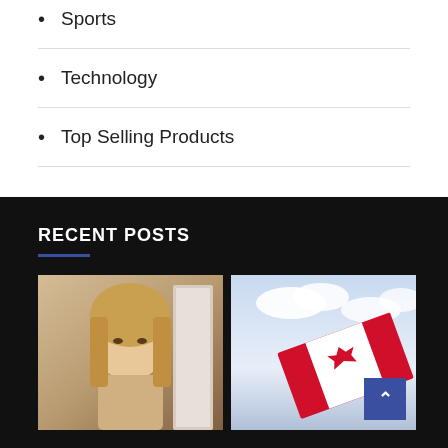Sports
Technology
Top Selling Products
RECENT POSTS
[Figure (photo): Portrait photo of a blonde woman facing camera indoors]
[Figure (photo): Canadian flag waving against a cloudy sky]